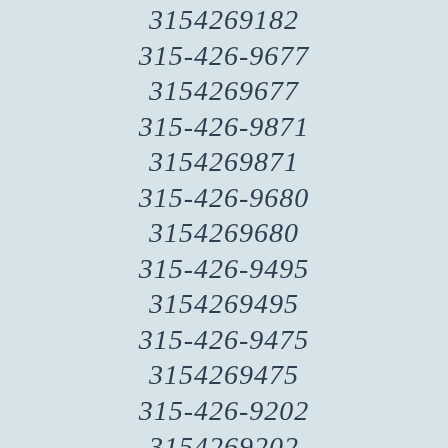3154269182
315-426-9677
3154269677
315-426-9871
3154269871
315-426-9680
3154269680
315-426-9495
3154269495
315-426-9475
3154269475
315-426-9202
3154269202
315-426-9144
3154269144
315-426-9039